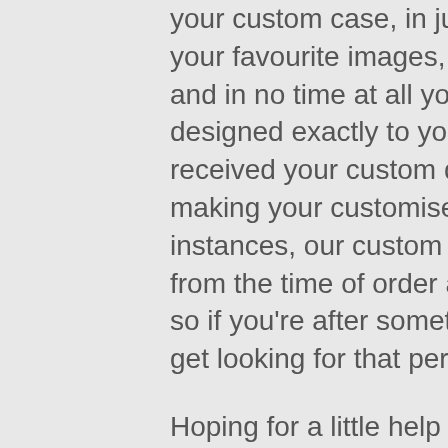your custom case, in just a few clicks. Simply upload your favourite images, choose one of our lovely layouts and in no time at all your custom mobile case will be designed exactly to your specification. Once we have received your custom design, we will get started on making your customised phone case and in most instances, our custom cases are made within 24 hours from the time of order and will arrive in just a few days so if you're after something quick but effective, why not get looking for that perfect picture now?
Hoping for a little help and inspiration in coming up with the right image or design for your custom iPhone case? Not a problem - you have the option of choosing an image or design from our amazing selection of custom cases that have been created by our talented artists exclusively for our customers. There are